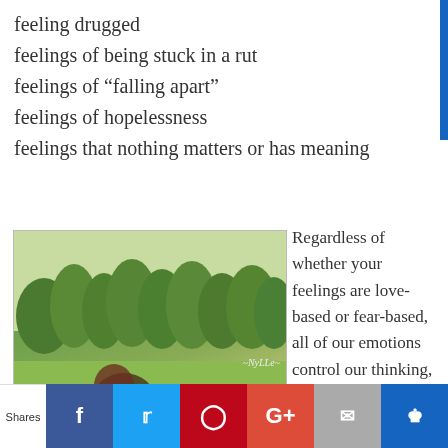feeling drugged
feelings of being stuck in a rut
feelings of “falling apart”
feelings of hopelessness
feelings that nothing matters or has meaning
[Figure (photo): A woman with red-tinted hair sitting in a grassy field, reaching toward the ground. Overlay text reads: 'Sometimes, I wish I can close my HEART from all the emotions I don't want to feel...' with credit to ~NyLLe~]
Regardless of whether your feelings are love-based or fear-based, all of our emotions control our thinking,
Shares [Facebook] [Twitter] [Pinterest] [Google+] [Email] [Crown]